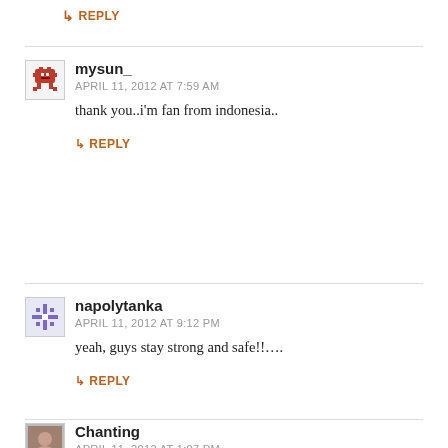↳ REPLY
mysun_
APRIL 11, 2012 AT 7:59 AM
thank you..i'm fan from indonesia..
↳ REPLY
napolytanka
APRIL 11, 2012 AT 9:12 PM
yeah, guys stay strong and safe!!....
↳ REPLY
Chanting
APRIL 11, 2012 AT 1:07 PM